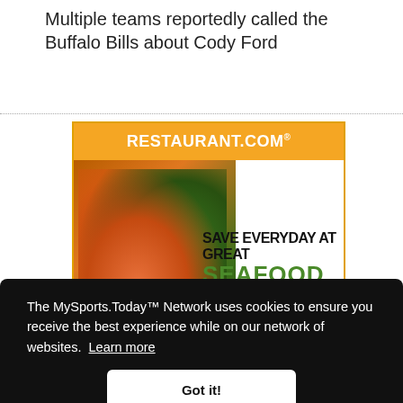Multiple teams reportedly called the Buffalo Bills about Cody Ford
[Figure (advertisement): Restaurant.com advertisement banner showing 'SAVE EVERYDAY AT GREAT SEAFOOD RESTAURANTS' with seafood food imagery and orange header]
The MySports.Today™ Network uses cookies to ensure you receive the best experience while on our network of websites. Learn more
Got it!
CATEGORIES